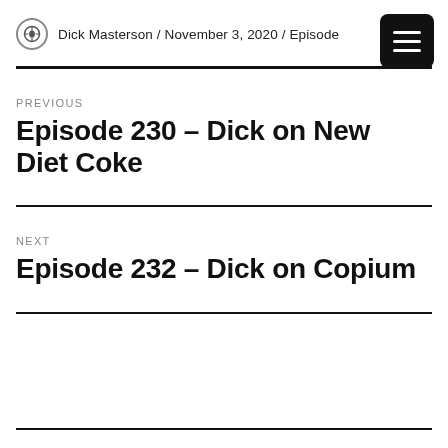Dick Masterson / November 3, 2020 / Episode
PREVIOUS
Episode 230 – Dick on New Diet Coke
NEXT
Episode 232 – Dick on Copium